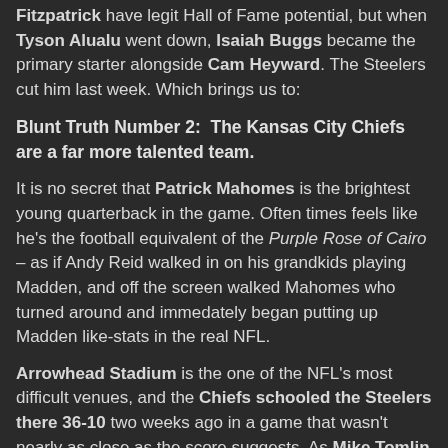Fitzpatrick have legit Hall of Fame potential, but when Tyson Alualu went down, Isaiah Buggs became the primary starter alongside Cam Heyward. The Steelers cut him last week. Which brings us to:
Blunt Truth Number 2:  The Kansas City Chiefs are a far more talented team.
It is no secret that Patrick Mahomes is the brightest young quarterback in the game. Often times feels like he's the football equivalent of the Purple Rose of Cairo – as if Andy Reid walked in on his grandkids playing Madden, and off the screen walked Mahomes who turned around and immedately began putting up Madden like-stats in the real NFL.
Arrowhead Stadium is the one of the NFL's most difficult venues, and the Chiefs schooled the Steelers there 36-10 two weeks ago in a game that wasn't nearly as close as the score suggests. As Mike Tomlin